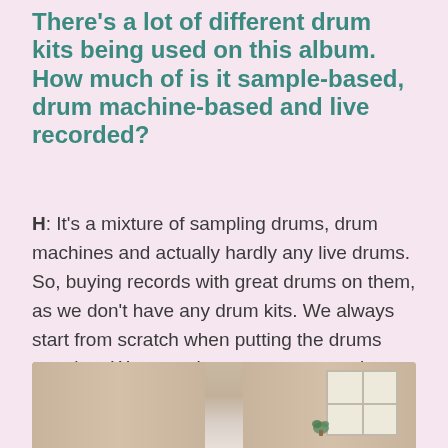There's a lot of different drum kits being used on this album. How much of is it sample-based, drum machine-based and live recorded?
H: It's a mixture of sampling drums, drum machines and actually hardly any live drums. So, buying records with great drums on them, as we don't have any drum kits. We always start from scratch when putting the drums together. We sometimes use compression on the drum bus, but we use little processing. Also, we avoid digital drum libraries which anyone could use.
[Figure (photo): Partial view of a room with curtains and a window with natural light]